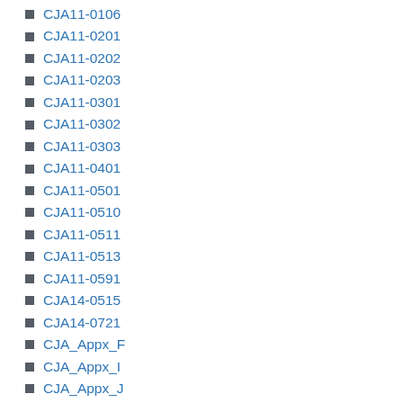CJA11-0106
CJA11-0201
CJA11-0202
CJA11-0203
CJA11-0301
CJA11-0302
CJA11-0303
CJA11-0401
CJA11-0501
CJA11-0510
CJA11-0511
CJA11-0513
CJA11-0591
CJA14-0515
CJA14-0721
CJA_Appx_F
CJA_Appx_I
CJA_Appx_J
CJC Terminology
CJC01
CJC02
CJC02.11
CJC02.12
CJC02.3
CJC03
CJC03.7
CJC04